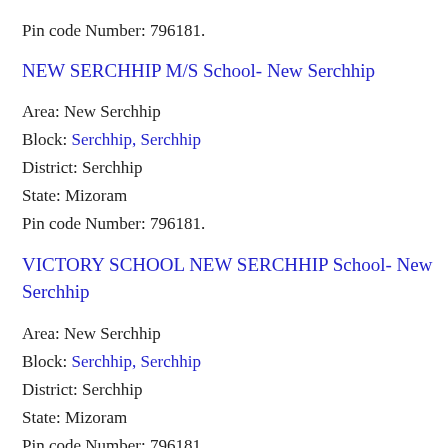Pin code Number: 796181.
NEW SERCHHIP M/S School- New Serchhip
Area: New Serchhip
Block: Serchhip, Serchhip
District: Serchhip
State: Mizoram
Pin code Number: 796181.
VICTORY SCHOOL NEW SERCHHIP School- New Serchhip
Area: New Serchhip
Block: Serchhip, Serchhip
District: Serchhip
State: Mizoram
Pin code Number: 796181.